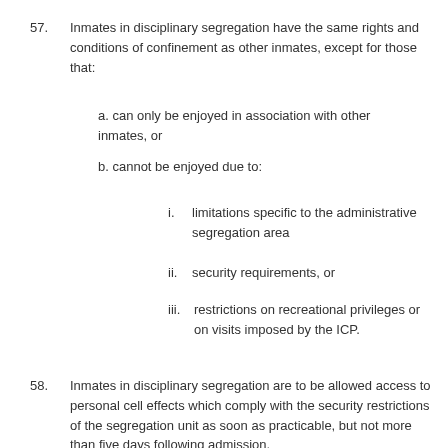57. Inmates in disciplinary segregation have the same rights and conditions of confinement as other inmates, except for those that:
a. can only be enjoyed in association with other inmates, or
b. cannot be enjoyed due to:
i. limitations specific to the administrative segregation area
ii. security requirements, or
iii. restrictions on recreational privileges or on visits imposed by the ICP.
58. Inmates in disciplinary segregation are to be allowed access to personal cell effects which comply with the security restrictions of the segregation unit as soon as practicable, but not more than five days following admission.
59. Inmates in disciplinary segregation will be provided with:
a. case management services
b. access to spiritual support, including Aboriginal Elders
c. access to out-of-cell exercise (at least one hour per day)